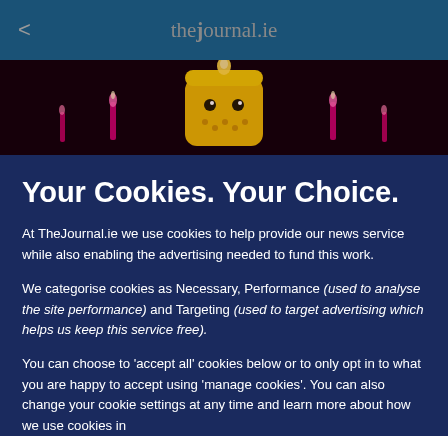< thejournal.ie
[Figure (photo): Dark banner image with birthday candles and a cartoon number 5 character with eyes, on a black background with pink/magenta candles on the sides.]
Your Cookies. Your Choice.
At TheJournal.ie we use cookies to help provide our news service while also enabling the advertising needed to fund this work.
We categorise cookies as Necessary, Performance (used to analyse the site performance) and Targeting (used to target advertising which helps us keep this service free).
You can choose to 'accept all' cookies below or to only opt in to what you are happy to accept using 'manage cookies'. You can also change your cookie settings at any time and learn more about how we use cookies in